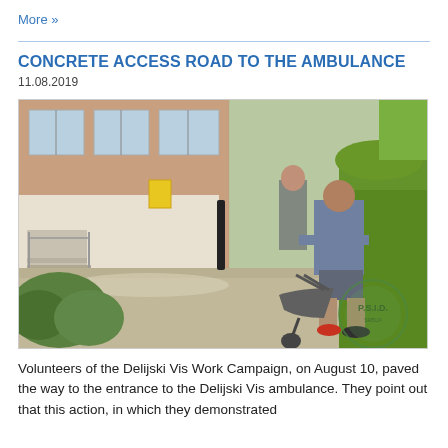More »
CONCRETE ACCESS ROAD TO THE AMBULANCE
11.08.2019
[Figure (photo): A volunteer pushing a wheelbarrow along a freshly poured concrete path leading to the entrance of a brick building (ambulance). Shrubs and trees visible. A round green stamp/watermark reading P.S.I.D. is overlaid on the bottom-right corner.]
Volunteers of the Delijski Vis Work Campaign, on August 10, paved the way to the entrance to the Delijski Vis ambulance. They point out that this action, in which they demonstrated